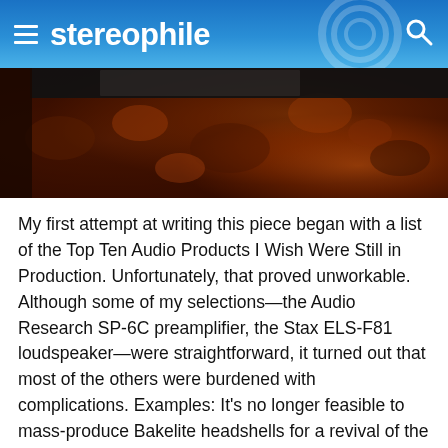stereophile
[Figure (photo): Close-up photo of a piece of audio equipment with a dark top panel and wood veneer sides in a rich reddish-brown burl pattern]
My first attempt at writing this piece began with a list of the Top Ten Audio Products I Wish Were Still in Production. Unfortunately, that proved unworkable. Although some of my selections—the Audio Research SP-6C preamplifier, the Stax ELS-F81 loudspeaker—were straightforward, it turned out that most of the others were burdened with complications. Examples: It's no longer feasible to mass-produce Bakelite headshells for a revival of the original Ortofon SPU or similar phono pickup. It's no longer possible to obtain the precisely correct